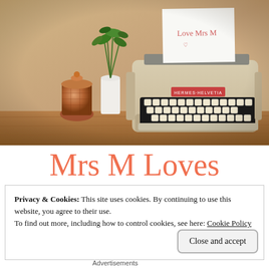[Figure (photo): A vintage Hermes Helvetia typewriter on a wooden table with a white paper inserted reading 'Love Mrs M', next to a white vase with a plant and a copper decorative jar]
Mrs M Loves
Privacy & Cookies: This site uses cookies. By continuing to use this website, you agree to their use.
To find out more, including how to control cookies, see here: Cookie Policy
Close and accept
Advertisements